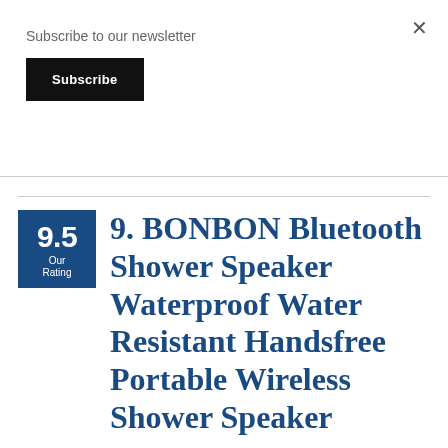Subscribe to our newsletter
Subscribe
9. BONBON Bluetooth Shower Speaker Waterproof Water Resistant Handsfree Portable Wireless Shower Speaker